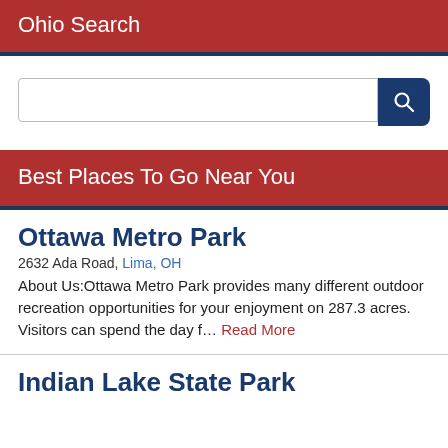Ohio Search
Best Places To Go Near You
Ottawa Metro Park
2632 Ada Road, Lima, OH
About Us:Ottawa Metro Park provides many different outdoor recreation opportunities for your enjoyment on 287.3 acres. Visitors can spend the day f… Read More
Indian Lake State Park